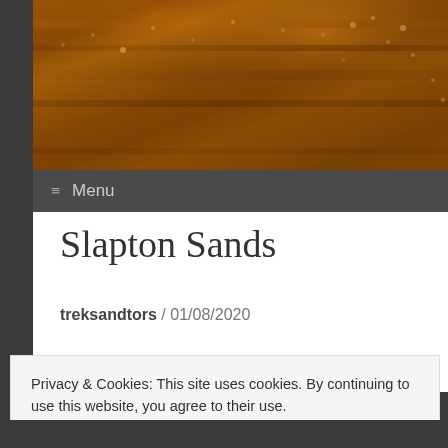[Figure (photo): A warm amber/brown landscape photo showing grass or vegetation in golden light, likely taken at sunrise or sunset at Slapton Sands]
≡  Menu
Slapton Sands
treksandtors / 01/08/2020
Privacy & Cookies: This site uses cookies. By continuing to use this website, you agree to their use.
To find out more, including how to control cookies, see here: Cookie Policy
Close and accept